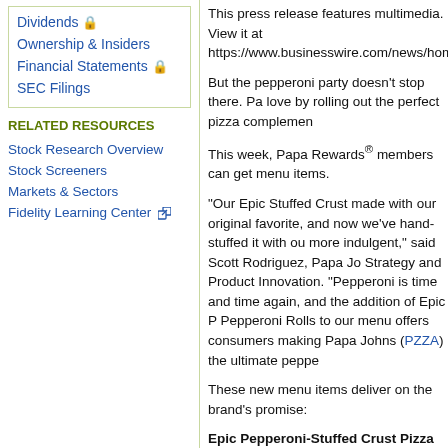Dividends 🔒
Ownership & Insiders
Financial Statements 🔒
SEC Filings
RELATED RESOURCES
Stock Research Overview
Stock Screeners
Markets & Sectors
Fidelity Learning Center ↗
This press release features multimedia. View it at https://www.businesswire.com/news/home/202...
But the pepperoni party doesn't stop there. Pa... love by rolling out the perfect pizza complemen...
This week, Papa Rewards® members can get ... menu items.
"Our Epic Stuffed Crust made with our original... favorite, and now we've hand-stuffed it with ou... more indulgent," said Scott Rodriguez, Papa Jo... Strategy and Product Innovation. "Pepperoni is... time and time again, and the addition of Epic P... Pepperoni Rolls to our menu offers consumers... making Papa Johns (PZZA) the ultimate peppe...
These new menu items deliver on the brand's ... promise:
Epic Pepperoni-Stuffed Crust Pizza featu... stuffed with our signature pepperoni and m... crust. Finished with Papa Johns (PZZA) sig... topped off with more pepperoni.
Spicy Pepperoni Rolls feature signature p... jalapenos and creamy melty cheese on orig... eight rolls and baked, this perfect pizza com... Garlic sauce for dipping or drizzling.
Both new products are available exclusively fo... and for all fans starting Monday, April 25. The ... 10 and are priced at $12.99 and $5.49, respe...